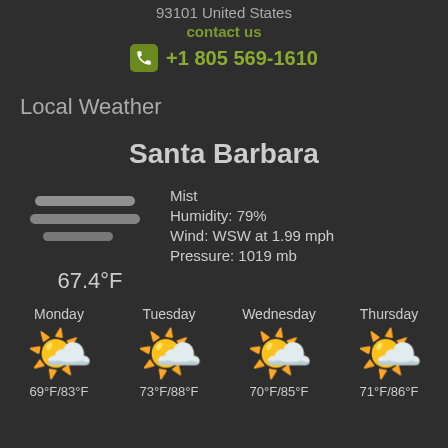93101 United States
contact us
+1 805 569-1610
Local Weather
Santa Barbara
Mist
Humidity: 79%
Wind: WSW at 1.99 mph
Pressure: 1019 mb
67.4°F
Monday 69°F/83°F
Tuesday 73°F/88°F
Wednesday 70°F/85°F
Thursday 71°F/86°F